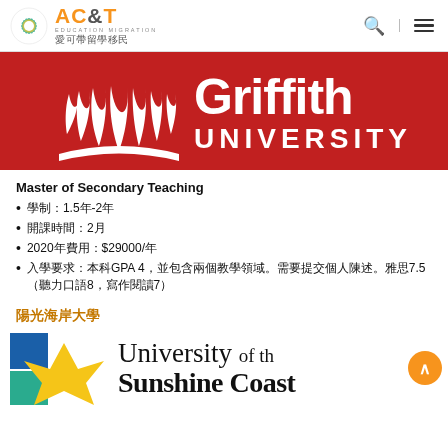AC&T EDUCATION MIGRATION 愛可帶留學移民
[Figure (logo): Griffith University logo on red banner background]
Master of Secondary Teaching
學制：1.5年-2年
開課時間：2月
2020年費用：$29000/年
入學要求：本科GPA 4，並包含兩個教學領域。需要提交個人陳述。雅思7.5（聽力口語8，寫作閱讀7）
陽光海岸大學
[Figure (logo): University of the Sunshine Coast logo with colorful geometric shapes and university name text]